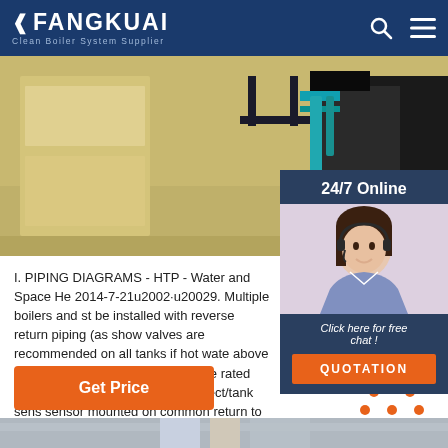FANGKUAI - Clean Boiler System Supplier
[Figure (photo): Industrial boiler room interior with equipment and yellow/tan walls]
[Figure (photo): 24/7 Online customer service representative with headset, smiling]
I. PIPING DIAGRAMS - HTP - Water and Space He 2014-7-21u2002·u20029. Multiple boilers and st be installed with reverse return piping (as show valves are recommended on all tanks if hot wate above 119oF. 11. Expansion tank must be rated potable water. 12. Use either indirect/tank sens sensor mounted on common return to the boile
Click here for free chat !
QUOTATION
Get Price
[Figure (photo): Bottom image strip showing piping or equipment]